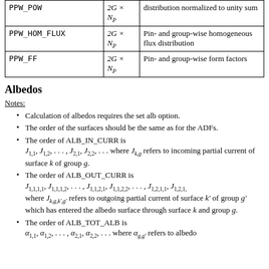|  | Dimension | Description |
| --- | --- | --- |
| PPW_POW | 2G × NP | distribution normalized to unity sum |
| PPW_HOM_FLUX | 2G × NP | Pin- and group-wise homogeneous flux distribution |
| PPW_FF | 2G × NP | Pin- and group-wise form factors |
Albedos
Notes:
Calculation of albedos requires the set alb option.
The order of the surfaces should be the same as for the ADFs.
The order of ALB_IN_CURR is J_{1,1}, J_{1,2}, ..., J_{2,1}, J_{2,2}, ... where J_{k,g} refers to incoming partial current of surface k of group g.
The order of ALB_OUT_CURR is J_{1,1,1,1}, J_{1,1,1,2}, ..., J_{1,1,2,1}, J_{1,1,2,2}, ..., J_{1,2,1,1}, J_{1,2,1,...} where J_{k,g,k',g'} refers to outgoing partial current of surface k' of group g' which has entered the albedo surface through surface k and group g.
The order of ALB_TOT_ALB is alpha_{1,1}, alpha_{1,2}, ..., alpha_{2,1}, alpha_{2,2}, ... where alpha_{g,g'} refers to albedo